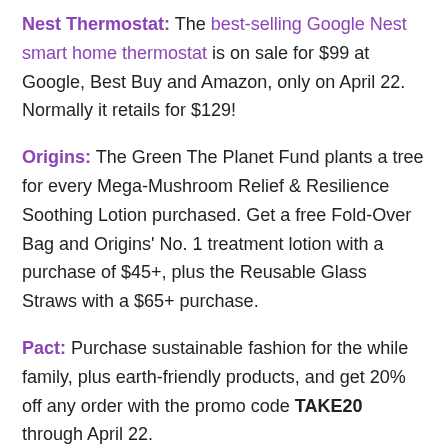Nest Thermostat: The best-selling Google Nest smart home thermostat is on sale for $99 at Google, Best Buy and Amazon, only on April 22. Normally it retails for $129!
Origins: The Green The Planet Fund plants a tree for every Mega-Mushroom Relief & Resilience Soothing Lotion purchased. Get a free Fold-Over Bag and Origins' No. 1 treatment lotion with a purchase of $45+, plus the Reusable Glass Straws with a $65+ purchase.
Pact: Purchase sustainable fashion for the while family, plus earth-friendly products, and get 20% off any order with the promo code TAKE20 through April 22.